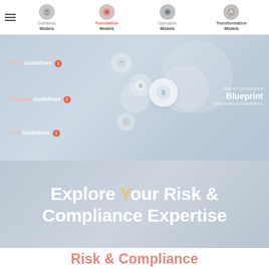Navigation bar with Guidance Models, Foundation Models (active), Operation Models, Transformation Models
[Figure (infographic): Risk & Compliance Blueprint panel with Policy Guidelines, Mitigation Guidelines, Audit Guidelines labels and decorative orbs on a blue-grey gradient background. Right side shows 'Risk & Compliance Blueprint' and 'Governance Guidelines' text.]
Explore Your Risk & Compliance Expertise
Risk & Compliance